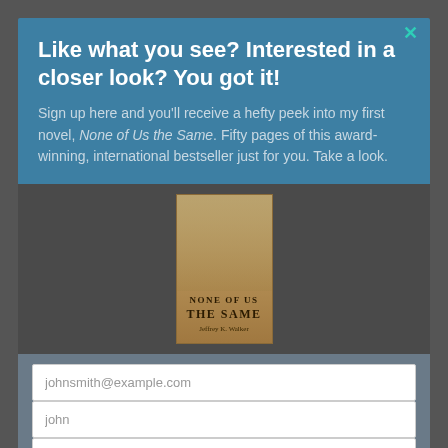Like what you see? Interested in a closer look? You got it!
Sign up here and you'll receive a hefty peek into my first novel, None of Us the Same. Fifty pages of this award-winning, international bestseller just for you. Take a look.
[Figure (illustration): Book cover of 'None of Us the Same' by Jeffrey K. Walker, showing a vintage sepia-toned image with a figure and the title text]
johnsmith@example.com
john